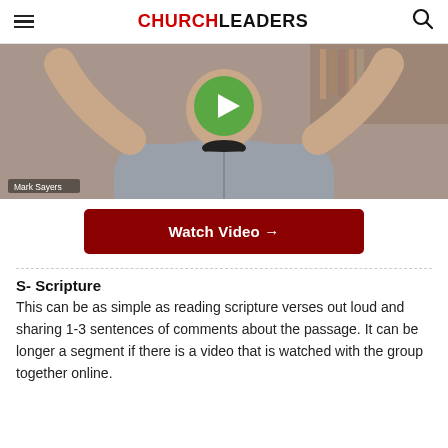CHURCHLEADERS
[Figure (photo): Video thumbnail showing a man in a grey zip-up sweatshirt with arms raised, a green play button overlay, and a label reading 'Mark Sayers' in the lower left corner.]
Watch Video →
S- Scripture
This can be as simple as reading scripture verses out loud and sharing 1-3 sentences of comments about the passage. It can be longer a segment if there is a video that is watched with the group together online.